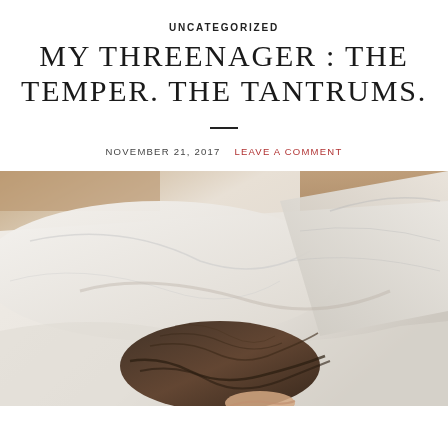UNCATEGORIZED
MY THREENAGER : THE TEMPER. THE TANTRUMS.
NOVEMBER 21, 2017   LEAVE A COMMENT
[Figure (photo): Child lying face-down on white bedding/pillows, with dark brown hair visible, photographed from above. Wooden floor visible in background.]